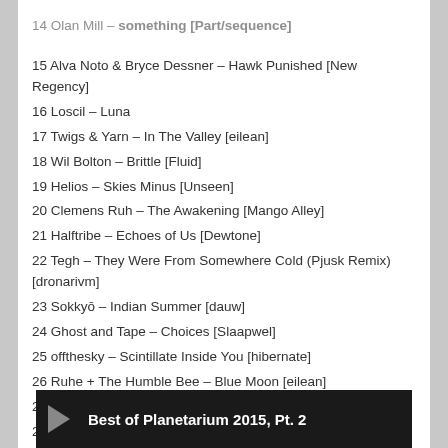15 Alva Noto & Bryce Dessner – Hawk Punished [New Regency]
16 Loscil – Luna
17 Twigs & Yarn – In The Valley [eilean]
18 Wil Bolton – Brittle [Fluid]
19 Helios – Skies Minus [Unseen]
20 Clemens Ruh – The Awakening [Mango Alley]
21 Halftribe – Echoes of Us [Dewtone]
22 Tegh – They Were From Somewhere Cold (Pjusk Remix) [dronarivm]
23 Sokkyō – Indian Summer [dauw]
24 Ghost and Tape – Choices [Slaapwel]
25 offthesky – Scintillate Inside You [hibernate]
26 Ruhe + The Humble Bee – Blue Moon [eilean]
27 Ruhe – Guide [eilean]
28 Ólafur Arnalds & Nils Frahm – 03:06 [Erased Tapes]
Images by: http://flickr.com/user/apojapo
[Figure (other): Music player bar showing 'Best of Planetarium 2015, Pt. 2' with play button on dark background]